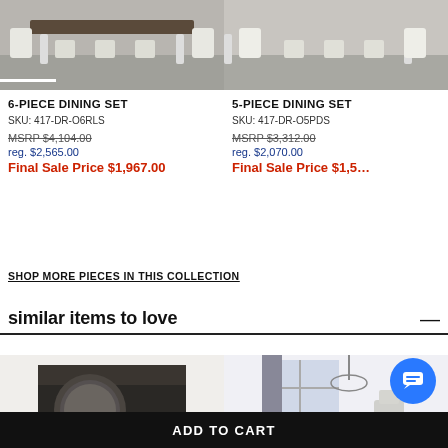[Figure (photo): 6-piece dining set product photo showing white dining table and chairs on gray rug]
[Figure (photo): 5-piece dining set product photo showing white dining chairs on gray rug, partially cropped]
6-PIECE DINING SET
SKU: 417-DR-O6RLS
MSRP $4,104.00
reg. $2,565.00
Final Sale Price $1,967.00
5-PIECE DINING SET
SKU: 417-DR-O5PDS
MSRP $3,312.00
reg. $2,070.00
Final Sale Price $1,5…
SHOP MORE PIECES IN THIS COLLECTION
similar items to love
[Figure (photo): Dark dining room product photo (partially visible), similar items section]
[Figure (photo): Bright room with chandelier product photo (partially visible), similar items section]
ADD TO CART